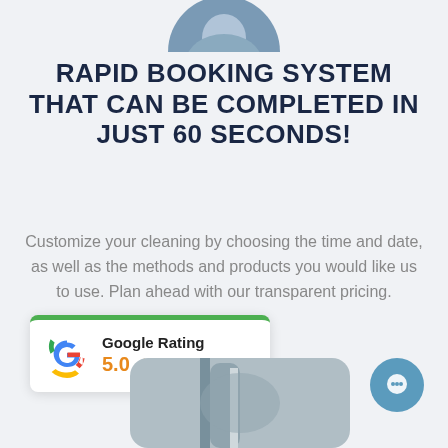[Figure (photo): Partial photo of a person at the top center of the page, cropped to show the bottom of a circular portrait]
RAPID BOOKING SYSTEM THAT CAN BE COMPLETED IN JUST 60 SECONDS!
Customize your cleaning by choosing the time and date, as well as the methods and products you would like us to use. Plan ahead with our transparent pricing.
[Figure (infographic): Google Rating widget showing 5.0 rating with five orange stars, white card with green top border]
[Figure (photo): Partial photo of cleaning equipment/tools at the bottom center-right]
[Figure (infographic): Blue circular chat bubble icon in the bottom right]